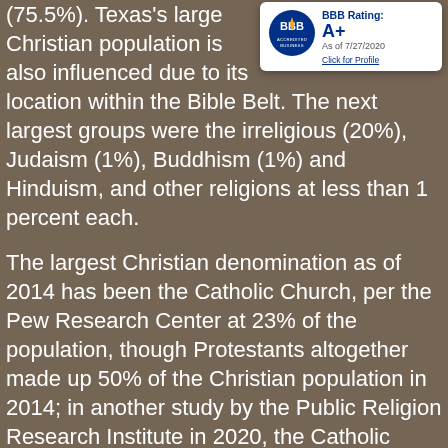(75.5%). Texas's large Christian population is also influenced due to its location within the Bible Belt. The next largest groups were the irreligious (20%), Judaism (1%), Buddhism (1%) and Hinduism, and other religions at less than 1 percent each.
[Figure (logo): BBB Accredited Business logo with BBB Rating: A+ as of 7/27/2020, Click for Profile]
The largest Christian denomination as of 2014 has been the Catholic Church, per the Pew Research Center at 23% of the population, though Protestants altogether made up 50% of the Christian population in 2014; in another study by the Public Religion Research Institute in 2020, the Catholic Church's membership increased to encompassing 28% of the population identifying with a religious or spiritual belief. The largest Catholic jurisdictions in Texas are the Archdiocese of Galveston-Houston—the first and oldest Latin Church diocese in Texas—the dioceses of Dallas, Fort Worth, and the Archdiocese of San Antonio.